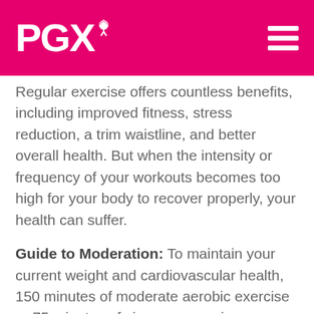PGX
Regular exercise offers countless benefits, including improved fitness, stress reduction, a trim waistline, and better overall health. But when the intensity or frequency of your workouts becomes too high for your body to recover properly, your health can suffer.
Guide to Moderation: To maintain your current weight and cardiovascular health, 150 minutes of moderate aerobic exercise or 75 minutes of vigorous exercise every week is recommended. And don't forget to include strength training in your routine.